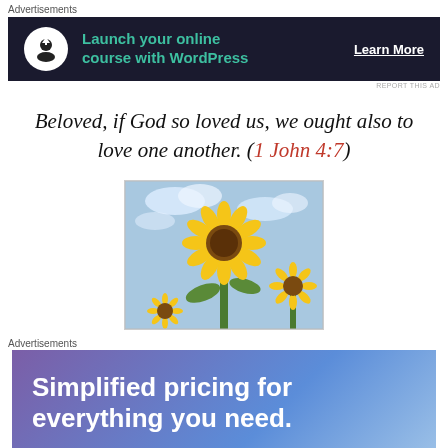Advertisements
[Figure (screenshot): Dark banner advertisement: icon of a person with upload symbol, teal text 'Launch your online course with WordPress', white underlined 'Learn More' button on right.]
REPORT THIS AD
Beloved, if God so loved us, we ought also to love one another. (1 John 4:7)
[Figure (photo): Photo of a large yellow sunflower in bloom against a blue cloudy sky, with smaller sunflowers in the background.]
Advertisements
[Figure (screenshot): Purple-to-blue gradient banner advertisement with white bold text: 'Simplified pricing for everything you need.']